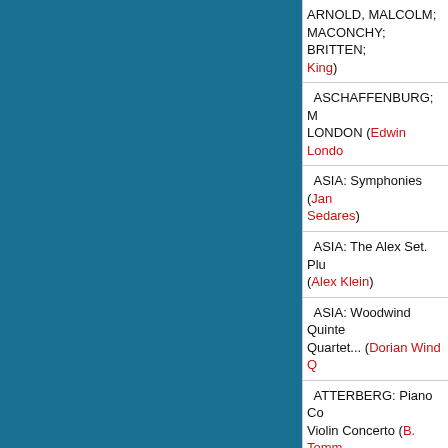| ARNOLD, MALCOLM; MACONCHY; BRITTEN; King) |
| ASCHAFFENBURG; M LONDON (Edwin London) |
| ASIA: Symphonies (Jan Sedares) |
| ASIA: The Alex Set. Plu (Alex Klein) |
| ASIA: Woodwind Quinte Quartet... (Dorian Wind Q) |
| ATTERBERG: Piano Co Violin Concerto (B. Tomm Andersson) |
| ATTERBERG: Quintet f and Strings.... (Monya Pr) |
| ATTERBERG: Sinfonia Strings... (Wallin) |
| ATTERBERG: Sonata i for Violin and... (Eszter P) |